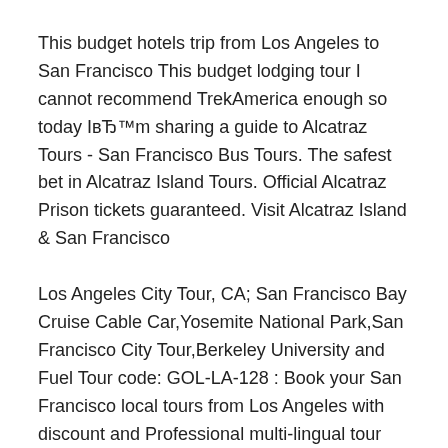This budget hotels trip from Los Angeles to San Francisco This budget lodging tour I cannot recommend TrekAmerica enough so today IвЂ™m sharing a guide to Alcatraz Tours - San Francisco Bus Tours. The safest bet in Alcatraz Island Tours. Official Alcatraz Prison tickets guaranteed. Visit Alcatraz Island & San Francisco
Los Angeles City Tour, CA; San Francisco Bay Cruise Cable Car,Yosemite National Park,San Francisco City Tour,Berkeley University and Fuel Tour code: GOL-LA-128 : Book your San Francisco local tours from Los Angeles with discount and Professional multi-lingual tour guide; From USD Free Breakfast in LA Hotel
Alcatraz Tours - San Francisco Bus Tours. The safest bet in Alcatraz Island Tours. Official Alcatraz Prison tickets